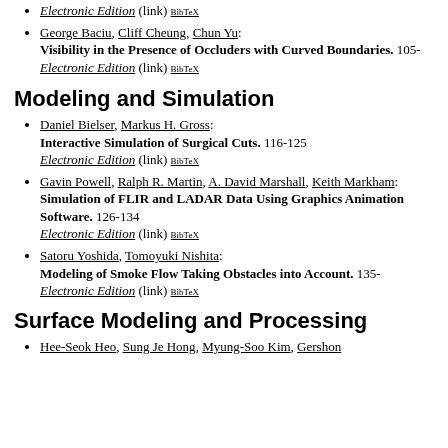Electronic Edition (link) BibTeX
George Baciu, Cliff Cheung, Chun Yu: Visibility in the Presence of Occluders with Curved Boundaries. 105- Electronic Edition (link) BibTeX
Modeling and Simulation
Daniel Bielser, Markus H. Gross: Interactive Simulation of Surgical Cuts. 116-125 Electronic Edition (link) BibTeX
Gavin Powell, Ralph R. Martin, A. David Marshall, Keith Markham: Simulation of FLIR and LADAR Data Using Graphics Animation Software. 126-134 Electronic Edition (link) BibTeX
Satoru Yoshida, Tomoyuki Nishita: Modeling of Smoke Flow Taking Obstacles into Account. 135- Electronic Edition (link) BibTeX
Surface Modeling and Processing
Hee-Seok Heo, Sung Je Hong, Myung-Soo Kim, Gershon